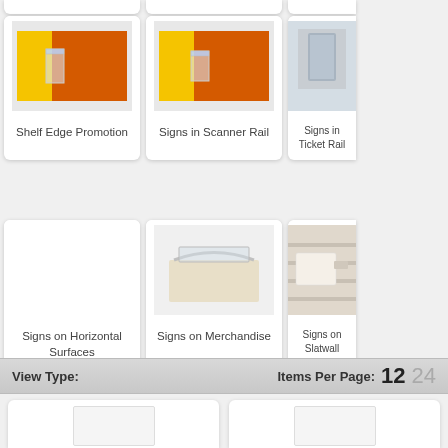[Figure (illustration): Product card: Shelf Edge Promotion - orange and yellow shelf edge with clear plastic sign holder]
Shelf Edge Promotion
[Figure (illustration): Product card: Signs in Scanner Rail - orange and yellow rail with clear sign holder]
Signs in Scanner Rail
[Figure (illustration): Product card: Signs in Ticket Rail - gray ticket rail with sign]
Signs in Ticket Rail
[Figure (illustration): Product card: Signs on Horizontal Surfaces - clear plastic sign holder on surface]
Signs on Horizontal Surfaces
[Figure (illustration): Product card: Signs on Merchandise - clear holder on merchandise]
Signs on Merchandise
[Figure (illustration): Product card: Signs on Slatwall - white sign on slatwall]
Signs on Slatwall
View Type:
Items Per Page: 12 24